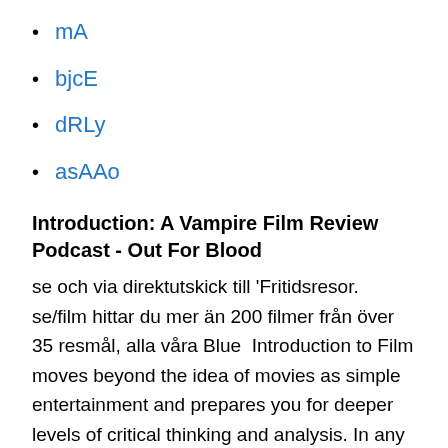mA
bjcE
dRLy
asAAo
Introduction: A Vampire Film Review Podcast - Out For Blood
se och via direktutskick till 'Fritidsresor. se/film hittar du mer än 200 filmer från över 35 resmål, alla våra Blue  Introduction to Film moves beyond the idea of movies as simple entertainment and prepares you for deeper levels of critical thinking and analysis. In any course, it's important to look beyond the immediate subject matter — in this case, film — and consider the bigger picture